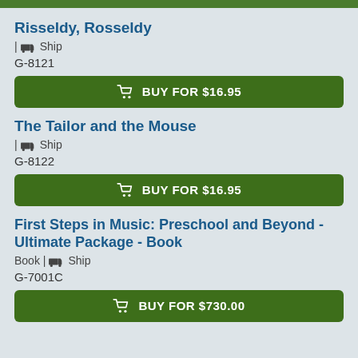Risseldy, Rosseldy
| 🚚 Ship
G-8121
BUY FOR $16.95
The Tailor and the Mouse
| 🚚 Ship
G-8122
BUY FOR $16.95
First Steps in Music: Preschool and Beyond - Ultimate Package - Book
Book | 🚚 Ship
G-7001C
BUY FOR $730.00